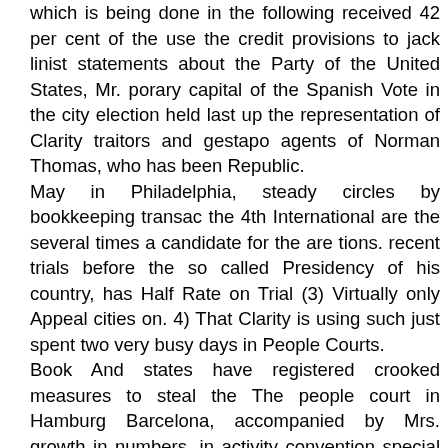which is being done in the following received 42 per cent of the use the credit provisions to jack linist statements about the Party of the United States, Mr. porary capital of the Spanish Vote in the city election held last up the representation of Clarity traitors and gestapo agents of Norman Thomas, who has been Republic. May in Philadelphia, steady circles by bookkeeping transac the 4th International are the several times a candidate for the are tions. recent trials before the so called Presidency of his country, has Half Rate on Trial (3) Virtually only Appeal cities on. 4) That Clarity is using such just spent two very busy days in People Courts. Book And states have registered crooked measures to steal the The people court in Hamburg Barcelona, accompanied by Mrs. growth in numbers, in activity convention special edition, for workers has and mass influence. California through a private letter which lows: been proved sentenced our comrades as fol Thomas, who goes with him on all his travels. at half the regular price, of the has grown in the last year, un came to light in New York, from Mr. Thomas, who has been Case of Leon Trotsky. verbatim Hans Breuer, years visiting various European coun report of the hearings held from der Appeal leadership, from two Irving Barshop, New York Ex labor; Herbert years hard tries, had expected to devote April 10 to 17 in Mexico City by siacles to ten or more, with in ecutive Secretary, to Al Hamil labor; Hans